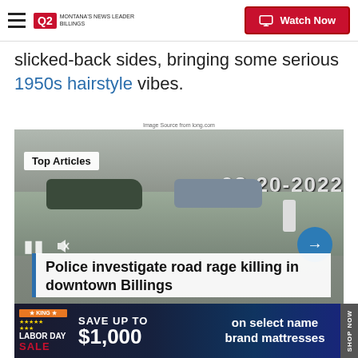Q2 MONTANA'S NEWS LEADER | Watch Now
slicked-back sides, bringing some serious 1950s hairstyle vibes.
Image Source from long.com
[Figure (screenshot): Surveillance camera footage dated 08-20-2022 showing a parking lot with cars and a person, with 'Top Articles' badge overlay and video playback controls including pause, mute, and next arrow buttons.]
Police investigate road rage killing in downtown Billings
[Figure (infographic): Advertisement banner: LABOR DAY SALE - SAVE UP TO $1,000 on select name brand mattresses - SHOP NOW]